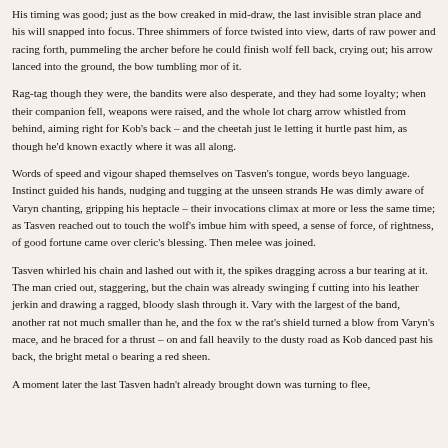His timing was good; just as the bow creaked in mid-draw, the last invisible strand fell into place and his will snapped into focus. Three shimmers of force twisted into view, becoming darts of raw power and racing forth, pummeling the archer before he could finish his draw. The wolf fell back, crying out; his arrow lanced into the ground, the bow tumbling more than clear of it.
Rag-tag though they were, the bandits were also desperate, and they had some semblance of loyalty; when their companion fell, weapons were raised, and the whole lot charged. Then an arrow whistled from behind, aiming right for Kob's back – and the cheetah just leaned aside, letting it hurtle past him, as though he'd known exactly where it was all along.
Words of speed and vigour shaped themselves on Tasven's tongue, words beyond his own language. Instinct guided his hands, nudging and tugging at the unseen strands of the world. He was dimly aware of Varyn chanting, gripping his heptacle – their invocations came to their climax at more or less the same time; as Tasven reached out to touch the wolf's shoulder to imbue him with speed, a sense of force, of rightness, of good fortune came over him with the cleric's blessing. Then melee was joined.
Tasven whirled his chain and lashed out with it, the spikes dragging across a burly arm and tearing at it. The man cried out, staggering, but the chain was already swinging for his side, cutting into his leather jerkin and drawing a ragged, bloody slash through it. Varyn grappled with the largest of the band, another rat not much smaller than he, and the fox was worried – the rat's shield turned a blow from Varyn's mace, and he braced for a thrust – only to stumble and fall heavily to the dusty road as Kob danced past his back, the bright metal of his blade bearing a red sheen.
A moment later the last Tasven hadn't already brought down was turning to flee, and Kob was